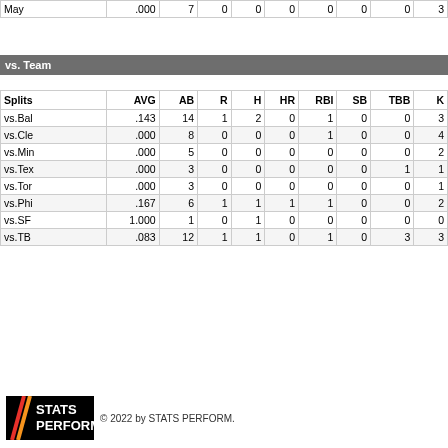| Splits | AVG | AB | R | H | HR | RBI | SB | TBB | K |
| --- | --- | --- | --- | --- | --- | --- | --- | --- | --- |
| May | .000 | 7 | 0 | 0 | 0 | 0 | 0 | 0 | 3 |
vs. Team
| Splits | AVG | AB | R | H | HR | RBI | SB | TBB | K |
| --- | --- | --- | --- | --- | --- | --- | --- | --- | --- |
| vs.Bal | .143 | 14 | 1 | 2 | 0 | 1 | 0 | 0 | 3 |
| vs.Cle | .000 | 8 | 0 | 0 | 0 | 1 | 0 | 0 | 4 |
| vs.Min | .000 | 5 | 0 | 0 | 0 | 0 | 0 | 0 | 2 |
| vs.Tex | .000 | 3 | 0 | 0 | 0 | 0 | 0 | 1 | 1 |
| vs.Tor | .000 | 3 | 0 | 0 | 0 | 0 | 0 | 0 | 1 |
| vs.Phi | .167 | 6 | 1 | 1 | 1 | 1 | 0 | 0 | 2 |
| vs.SF | 1.000 | 1 | 0 | 1 | 0 | 0 | 0 | 0 | 0 |
| vs.TB | .083 | 12 | 1 | 1 | 0 | 1 | 0 | 3 | 3 |
© 2022 by STATS PERFORM.